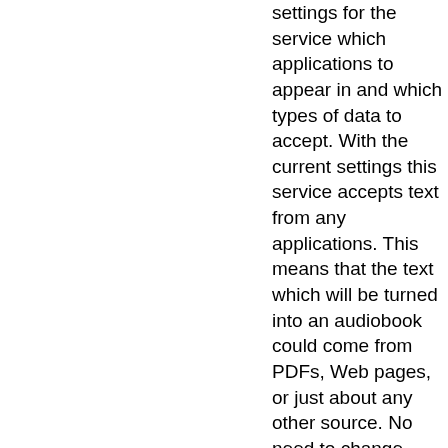settings for the service which applications to appear in and which types of data to accept. With the current settings this service accepts text from any applications. This means that the text which will be turned into an audiobook could come from PDFs, Web pages, or just about any other source. No need to change these settings. They're most useful just as they are.
The rightmost pane also contains the three steps